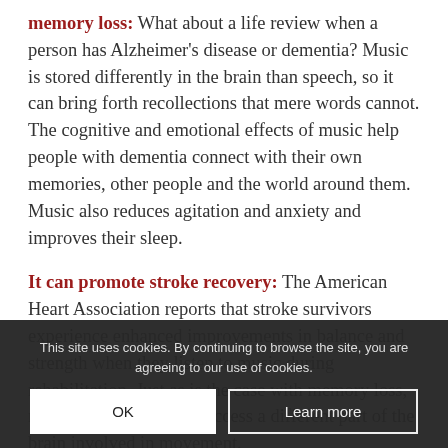memory loss: What about a life review when a person has Alzheimer's disease or dementia? Music is stored differently in the brain than speech, so it can bring forth recollections that mere words cannot. The cognitive and emotional effects of music help people with dementia connect with their own memories, other people and the world around them. Music also reduces agitation and anxiety and improves their sleep.
It can promote stroke recovery: The American Heart Association reports that stroke survivors experience enhanced improvements in balance and strength when they listen to music during rehabilitation. Just as is the case with memory loss, music can help patients access a different part of the brain involved in movement.
This site uses cookies. By continuing to browse the site, you are agreeing to our use of cookies.